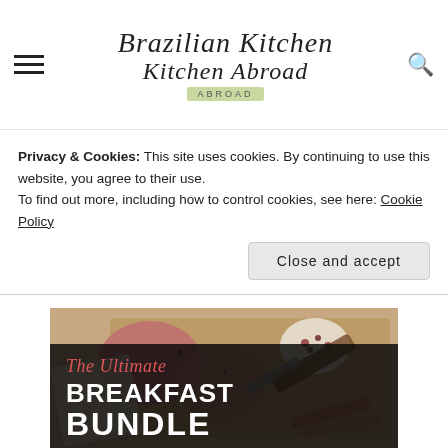Brazilian Kitchen Abroad
Privacy & Cookies: This site uses cookies. By continuing to use this website, you agree to their use.
To find out more, including how to control cookies, see here: Cookie Policy
Close and accept
[Figure (photo): Raw ground meat patties on a wooden cutting board with peppercorns in a small bowl, with a meat cleaver visible. Overlaid text reads: The Ultimate BREAKFAST BUNDLE]